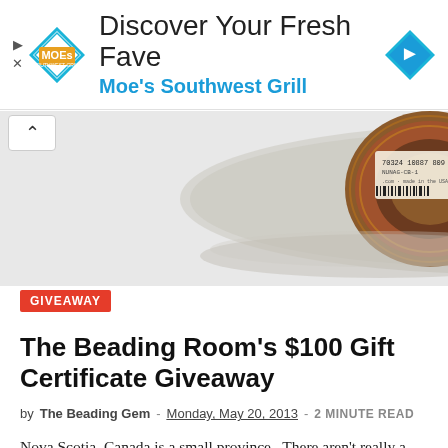[Figure (other): Advertisement banner for Moe's Southwest Grill with logo, headline 'Discover Your Fresh Fave', subtext 'Moe's Southwest Grill', and a blue diamond arrow icon]
[Figure (photo): Product photo of a spool of copper wire in a clear plastic bag with a barcode label, partially cropped]
GIVEAWAY
The Beading Room's $100 Gift Certificate Giveaway
by The Beading Gem - Monday, May 20, 2013 - 2 MINUTE READ
Nova Scotia, Canada is a small province.  There aren't really a whole lot of jobs even when times are good. So when Hollie Ferrall's husband wanted to spend